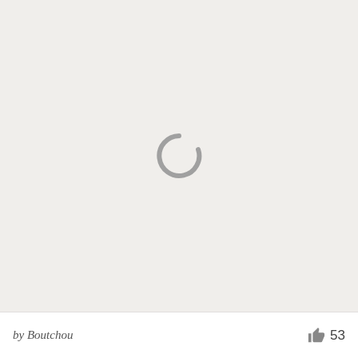[Figure (other): Loading spinner icon — a grey partial circle (C-shape) centered in a light beige/grey background area, indicating a loading state.]
by Boutchou
53